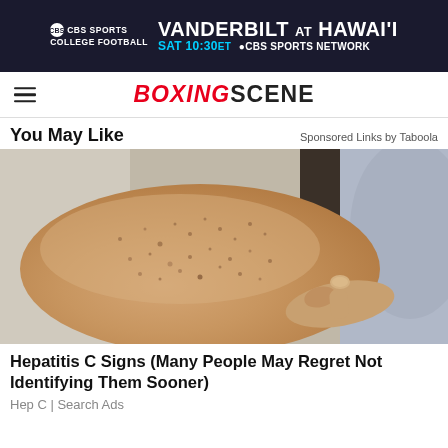[Figure (screenshot): CBS Sports College Football advertisement banner for Vanderbilt at Hawai'i, SAT 10:30ET on CBS Sports Network, dark navy background]
BOXINGSCENE
You May Like
Sponsored Links by Taboola
[Figure (photo): Medical photo of a person's arm with skin spots/lesions being pointed at by a finger, used in Hepatitis C advertisement]
Hepatitis C Signs (Many People May Regret Not Identifying Them Sooner)
Hep C | Search Ads